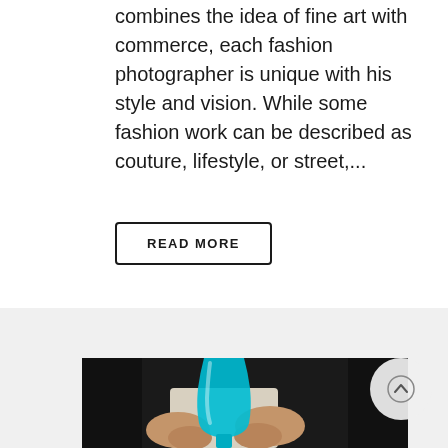combines the idea of fine art with commerce, each fashion photographer is unique with his style and vision. While some fashion work can be described as couture, lifestyle, or street,...
READ MORE
[Figure (photo): Person holding a large teal/blue transparent vase or pitcher with both hands against a dark background]